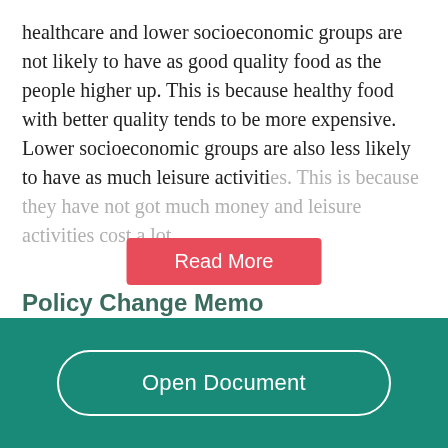healthcare and lower socioeconomic groups are not likely to have as good quality food as the people higher up. This is because healthy food with better quality tends to be more expensive. Lower socioeconomic groups are also less likely to have as much leisure activities. This is because they have not got much money and leisure activities cost a lot....
Policy Change Memo
[Figure (other): Red 'Read More' button overlay on text]
[Figure (other): Teal footer bar with 'Open Document' pill button]